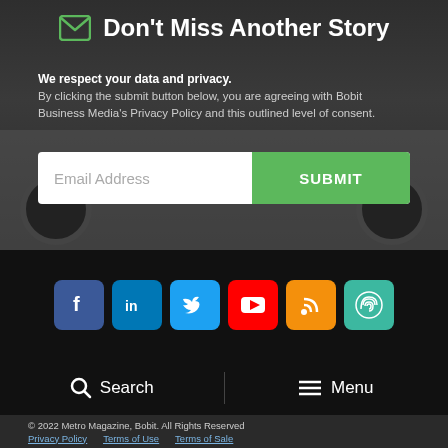Don't Miss Another Story
We respect your data and privacy.
By clicking the submit button below, you are agreeing with Bobit Business Media's Privacy Policy and this outlined level of consent.
[Figure (screenshot): Email address input field with SUBMIT button]
[Figure (infographic): Social media icons: Facebook, LinkedIn, Twitter, YouTube, RSS, and a fingerprint/privacy icon]
Search  Menu
© 2022 Metro Magazine, Bobit. All Rights Reserved
Privacy Policy  Terms of Use  Terms of Sale